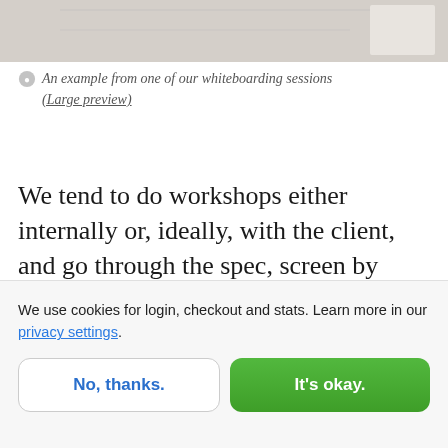[Figure (photo): Partial photo of a whiteboarding session, cropped at top, showing a whiteboard surface]
An example from one of our whiteboarding sessions (Large preview)
We tend to do workshops either internally or, ideally, with the client, and go through the spec, screen by screen, and whiteboard the wireframes. The wireframes are then brought into a tool to be digitized, shared and revised. Many people prefer
We use cookies for login, checkout and stats. Learn more in our privacy settings.
No, thanks.
It's okay.